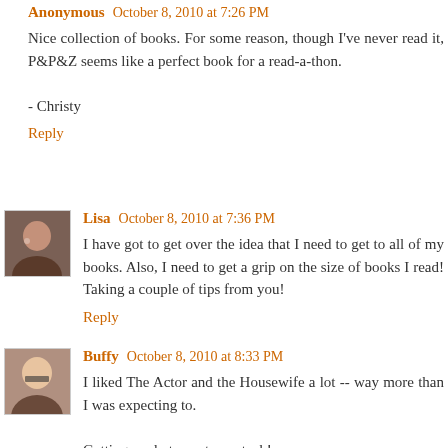Anonymous October 8, 2010 at 7:26 PM
Nice collection of books. For some reason, though I've never read it, P&P&Z seems like a perfect book for a read-a-thon.

- Christy
Reply
Lisa October 8, 2010 at 7:36 PM
I have got to get over the idea that I need to get to all of my books. Also, I need to get a grip on the size of books I read! Taking a couple of tips from you!
Reply
Buffy October 8, 2010 at 8:33 PM
I liked The Actor and the Housewife a lot -- way more than I was expecting to.

Getting ready to post my stack!